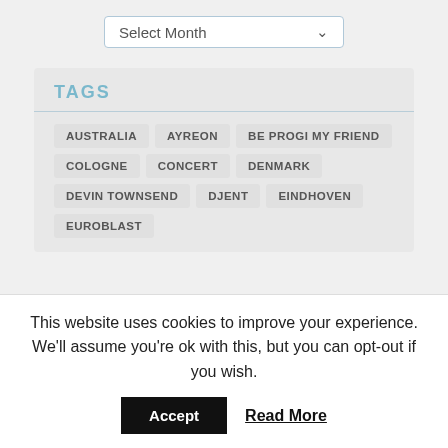TAGS
AUSTRALIA
AYREON
BE PROGI MY FRIEND
COLOGNE
CONCERT
DENMARK
DEVIN TOWNSEND
DJENT
EINDHOVEN
EUROBLAST
This website uses cookies to improve your experience. We'll assume you're ok with this, but you can opt-out if you wish.
Accept
Read More